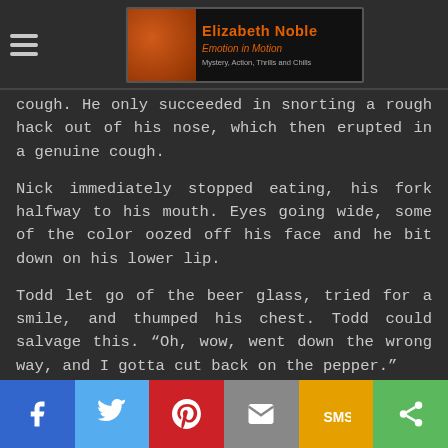Elizabeth Noble — Emotion in Motion — Mystery, Action, Thrills and Chills
cough. He only succeeded in snorting a rough hack out of his nose, which then erupted in a genuine cough.
Nick immediately stopped eating, his fork halfway to his mouth. Eyes going wide, some of the color oozed off his face and he bit down on his lower lip.
Todd let go of the beer glass, tried for a smile, and thumped his chest. Todd could salvage this. “Oh, wow, went down the wrong way, and I gotta cut back on the pepper.”
Looking down, Nick let his fork clatter to his plate.
Share bar: Facebook, Twitter, Pinterest, Email, SMS, Share